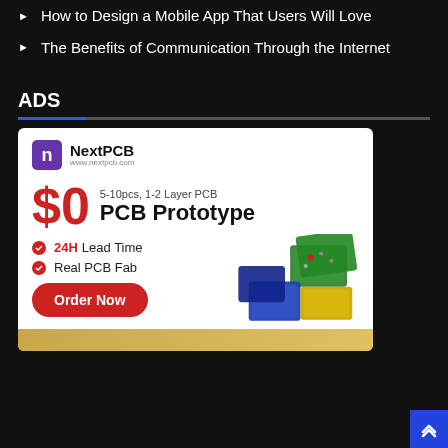How to Design a Mobile App That Users Will Love
The Benefits of Communication Through the Internet
ADS
[Figure (illustration): NextPCB advertisement banner showing $0 PCB Prototype offer, 5-10pcs 1-2 Layer PCB, 24H Lead Time, Real PCB Fab, with Order Now button and PCB images]